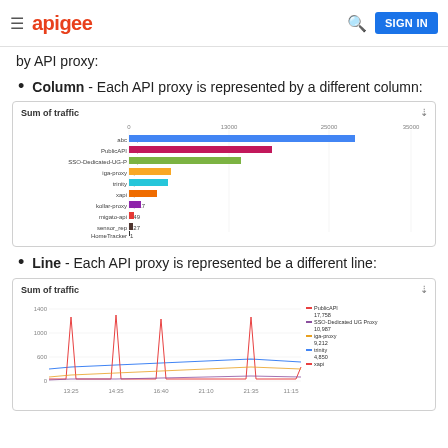apigee  SIGN IN
by API proxy:
Column - Each API proxy is represented by a different column:
[Figure (bar-chart): Sum of traffic]
Line - Each API proxy is represented be a different line:
[Figure (line-chart): Line chart showing traffic over time for multiple API proxies including PublicAPI 17,758, SSO-Dedicated UG Proxy 10,987, iga-proxy 9,212, trinity 4,850, xapi]